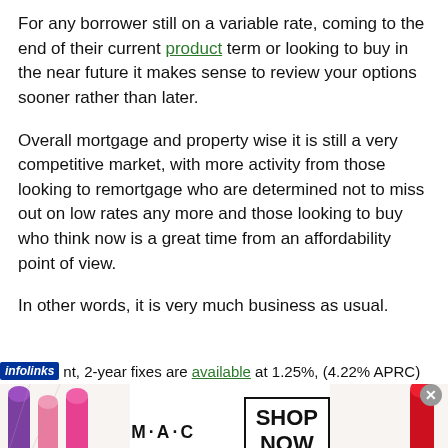For any borrower still on a variable rate, coming to the end of their current product term or looking to buy in the near future it makes sense to review your options sooner rather than later.
Overall mortgage and property wise it is still a very competitive market, with more activity from those looking to remortgage who are determined not to miss out on low rates any more and those looking to buy who think now is a great time from an affordability point of view.
In other words, it is very much business as usual.
nt, 2-year fixes are available at 1.25%, (4.22% APRC)
[Figure (photo): MAC cosmetics advertisement showing lipsticks on left and right sides, MAC logo in center, and a 'SHOP NOW' button box]